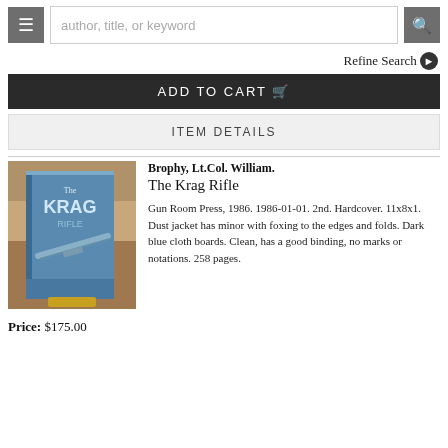author, title, or keyword
Refine Search
ADD TO CART
ITEM DETAILS
[Figure (photo): Photo of The Krag Rifle book standing upright showing blue cover with title and rifle illustration]
Brophy, Lt.Col. William.
The Krag Rifle
Gun Room Press, 1986. 1986-01-01. 2nd. Hardcover. 11x8x1. Dust jacket has minor with foxing to the edges and folds. Dark blue cloth boards. Clean, has a good binding, no marks or notations. 258 pages.
Price: $175.00